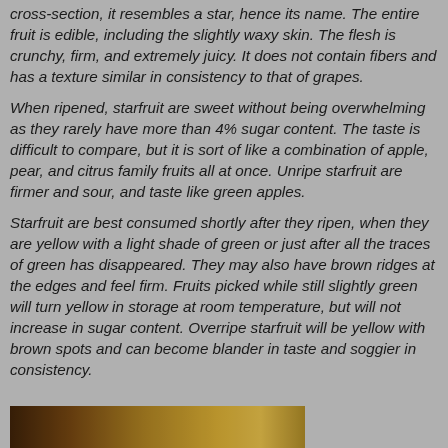cross-section, it resembles a star, hence its name. The entire fruit is edible, including the slightly waxy skin. The flesh is crunchy, firm, and extremely juicy. It does not contain fibers and has a texture similar in consistency to that of grapes.
When ripened, starfruit are sweet without being overwhelming as they rarely have more than 4% sugar content. The taste is difficult to compare, but it is sort of like a combination of apple, pear, and citrus family fruits all at once. Unripe starfruit are firmer and sour, and taste like green apples.
Starfruit are best consumed shortly after they ripen, when they are yellow with a light shade of green or just after all the traces of green has disappeared. They may also have brown ridges at the edges and feel firm. Fruits picked while still slightly green will turn yellow in storage at room temperature, but will not increase in sugar content. Overripe starfruit will be yellow with brown spots and can become blander in taste and soggier in consistency.
[Figure (photo): Partial view of a starfruit photo at the bottom of the page, showing yellow and brown tones of the fruit.]